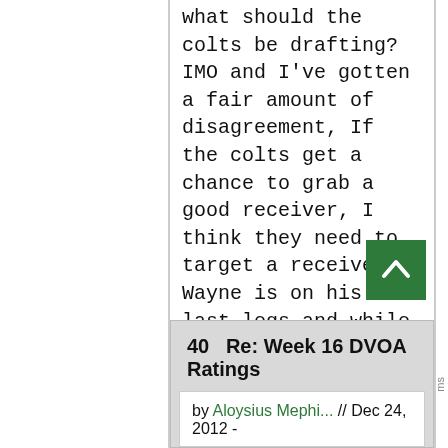what should the colts be drafting? IMO and I've gotten a fair amount of disagreement, If the colts get a chance to grab a good receiver, I think they need to target a receiver. Wayne is on his last legs and while brazil and hilton are ok, they are not really starting receivers.
After that, colts need a pass rusher, some corners, a good linebacker, some offensive linemen-particularly guards and center - and maybe even some safeties. Other than that, we're good!
40  Re: Week 16 DVOA Ratings
by Aloysius Mephi... // Dec 24, 2012 -